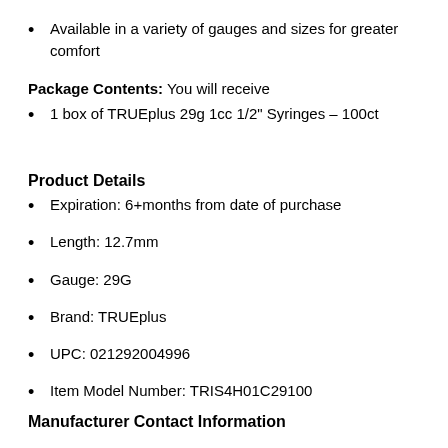Available in a variety of gauges and sizes for greater comfort
Package Contents: You will receive
1 box of TRUEplus 29g 1cc 1/2" Syringes – 100ct
Product Details
Expiration: 6+months from date of purchase
Length: 12.7mm
Gauge: 29G
Brand: TRUEplus
UPC: 021292004996
Item Model Number: TRIS4H01C29100
Manufacturer Contact Information